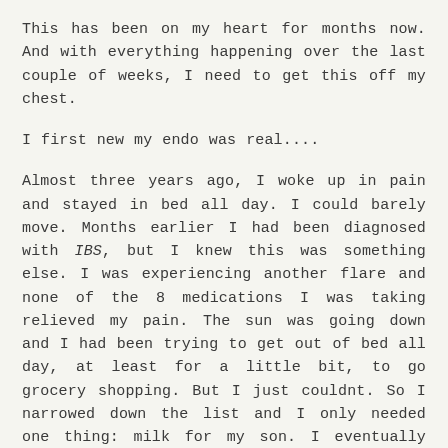This has been on my heart for months now. And with everything happening over the last couple of weeks, I need to get this off my chest.
I first new my endo was real....
Almost three years ago, I woke up in pain and stayed in bed all day. I could barely move. Months earlier I had been diagnosed with IBS, but I knew this was something else. I was experiencing another flare and none of the 8 medications I was taking relieved my pain. The sun was going down and I had been trying to get out of bed all day, at least for a little bit, to go grocery shopping. But I just couldnt. So I narrowed down the list and I only needed one thing: milk for my son. I eventually broke down and asked my husband to run to the store. He happily obliged, asked if I needed anything and he took our son with him to Target since none of us had been out that day.
I stayed home with my mom (who had moved in with is just a couple of months prior due to her failing health) and tried to